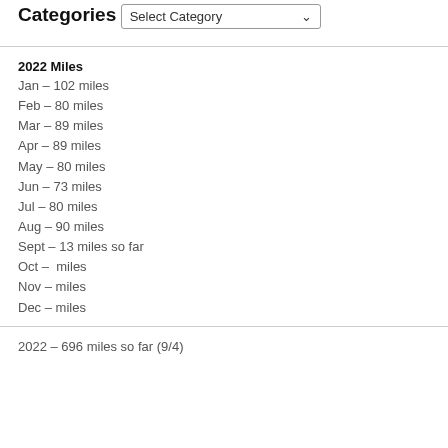Categories
Select Category
2022 Miles
Jan – 102 miles
Feb – 80 miles
Mar – 89 miles
Apr – 89 miles
May – 80 miles
Jun – 73 miles
Jul – 80 miles
Aug – 90 miles
Sept – 13 miles so far
Oct –  miles
Nov – miles
Dec – miles
2022 – 696 miles so far (9/4)